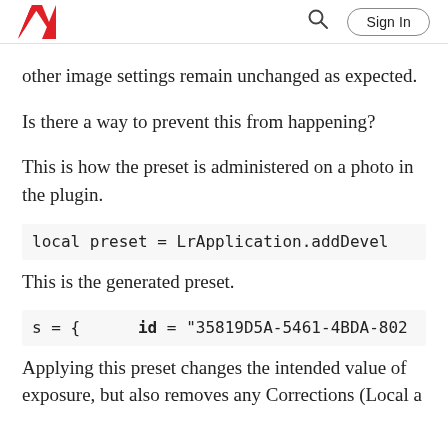Adobe [logo] | Search | Sign In
other image settings remain unchanged as expected.
Is there a way to prevent this from happening?
This is how the preset is administered on a photo in the plugin.
local preset = LrApplication.addDevel…
This is the generated preset.
s = {      id = "35819D5A-5461-4BDA-802…
Applying this preset changes the intended value of exposure, but also removes any Corrections (Local adjustments such as Radial and Graduated Filters).